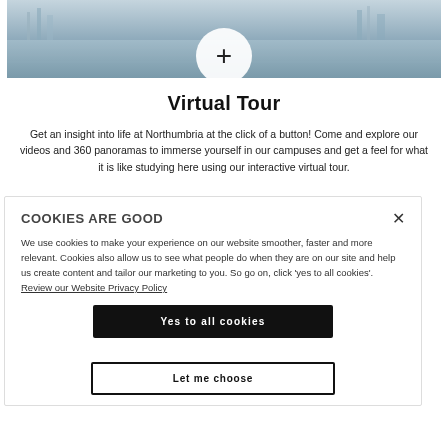[Figure (photo): Waterfront or marina photo with reflections on water, partially overlaid by a white circle with a plus sign]
Virtual Tour
Get an insight into life at Northumbria at the click of a button! Come and explore our videos and 360 panoramas to immerse yourself in our campuses and get a feel for what it is like studying here using our interactive virtual tour.
COOKIES ARE GOOD
We use cookies to make your experience on our website smoother, faster and more relevant. Cookies also allow us to see what people do when they are on our site and help us create content and tailor our marketing to you. So go on, click 'yes to all cookies'. Review our Website Privacy Policy